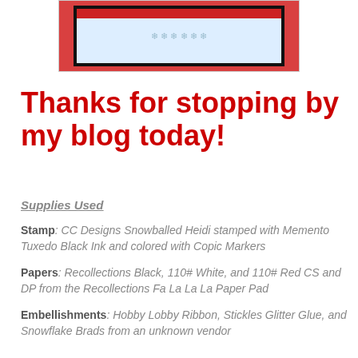[Figure (photo): Partial view of a handmade Christmas card with red cardstock, black mat, and snowflake patterned paper]
Thanks for stopping by my blog today!
Supplies Used
Stamp: CC Designs Snowballed Heidi stamped with Memento Tuxedo Black Ink and colored with Copic Markers
Papers: Recollections Black, 110# White, and 110# Red CS and DP from the Recollections Fa La La La Paper Pad
Embellishments: Hobby Lobby Ribbon, Stickles Glitter Glue, and Snowflake Brads from an unknown vendor